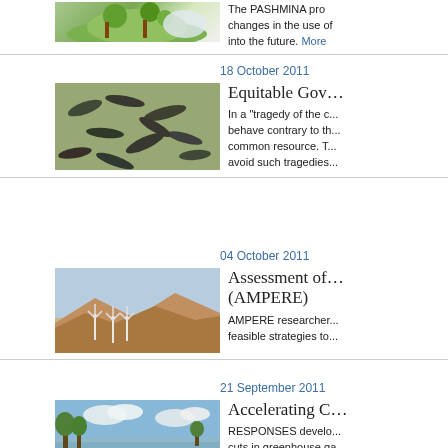[Figure (photo): Partial top entry - PASHMINA project green/nature logo image]
The PASHMINA pro... changes in the use of... into the future. More
18 October 2011
[Figure (photo): Fish swimming in shallow water, aerial view]
Equitable Gov...
In a "tragedy of the c... behave contrary to th... common resource. T... avoid such tragedies...
04 October 2011
[Figure (photo): Wind turbines on hilly landscape]
Assessment of... (AMPERE)
AMPERE researcher... feasible strategies to...
21 September 2011
[Figure (photo): Flooded landscape with trees and cloudy sky]
Accelerating C...
RESPONSES develo... cuts in greenhouse ga... economic disruptions...